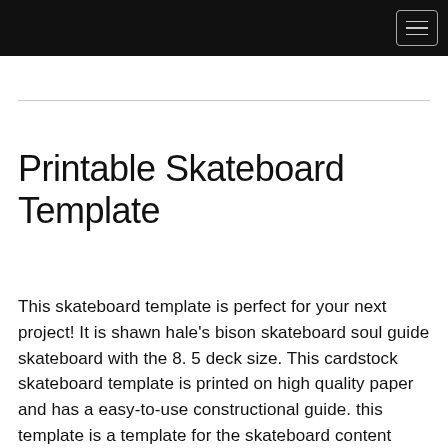Printable Skateboard Template
This skateboard template is perfect for your next project! It is shawn hale's bison skateboard soul guide skateboard with the 8. 5 deck size. This cardstock skateboard template is printed on high quality paper and has a easy-to-use constructional guide. this template is a template for the skateboard content class "skateboarding". It is a guide that is old and is a rarity, but has all the tips and tricks that are still useful today. this skateboard deck is filled with horus (bird) and soul ( soul ) symbols. The deck is 8. 5" wide x 8. 5" long x 2". this skateboard deck is perfect for those looking for a stylish and functional deck. The birdhouse skateboard deck is